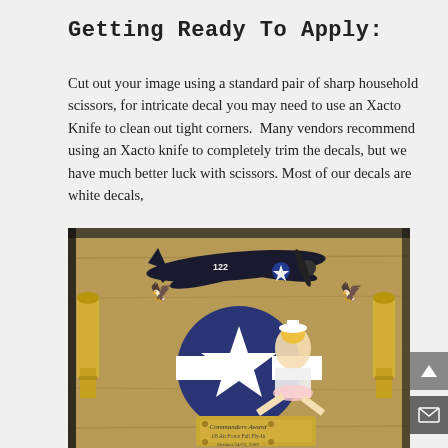Getting Ready To Apply:
Cut out your image using a standard pair of sharp household scissors, for intricate decal you may need to use an Xacto Knife to clean out tight corners.  Many vendors recommend using an Xacto knife to completely trim the decals, but we have much better luck with scissors. Most of our decals are white decals,
[Figure (photo): A wooden plaque with WWII-themed decals including a dark navy fighter plane (number 122), a US military star insignia, a pin-up girl figure, two eagle insignia, two bullet casings, and a metal plaque reading 'Commanders Award, 1/8 Air Force Fall Fly-In, October 24-25, 2009']